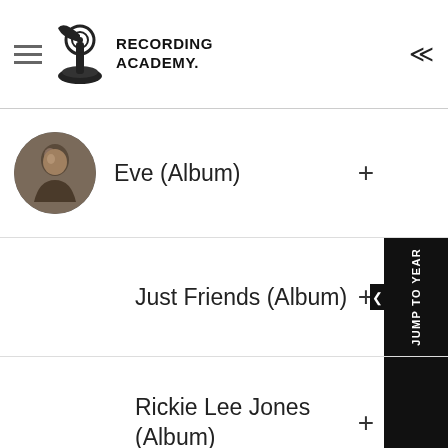Recording Academy
Eve (Album)
Just Friends (Album)
Rickie Lee Jones (Album)
GO TO 22ND ANNUAL GRAMMY AWARDS (1979)